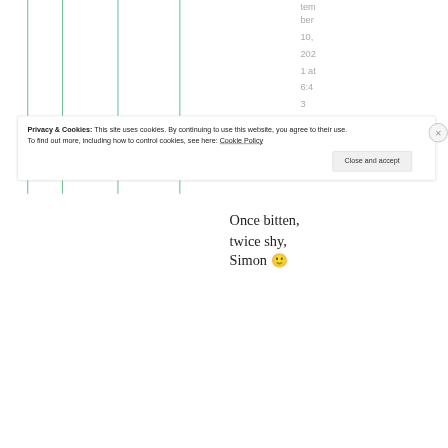| tem | ber | 10, | 202 | 1 at | 6:4 | 3 | am |
Once bitten, twice shy, Simon 🙂
Privacy & Cookies: This site uses cookies. By continuing to use this website, you agree to their use.
To find out more, including how to control cookies, see here: Cookie Policy